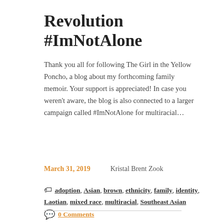Revolution #ImNotAlone
Thank you all for following The Girl in the Yellow Poncho, a blog about my forthcoming family memoir. Your support is appreciated! In case you weren't aware, the blog is also connected to a larger campaign called #ImNotAlone for multiracial…
March 31, 2019   Kristal Brent Zook
adoption, Asian, brown, ethnicity, family, identity, Laotian, mixed race, multiracial, Southeast Asian
0 Comments